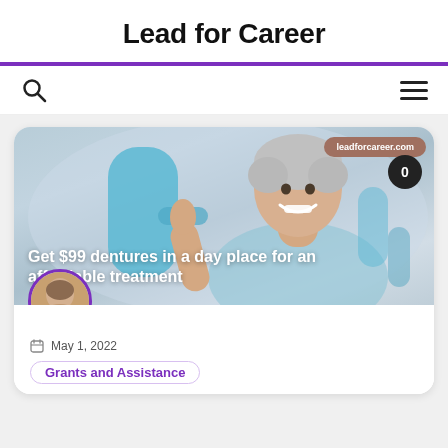Lead for Career
[Figure (screenshot): Website navigation bar with search icon on left and hamburger menu on right]
[Figure (photo): Article card showing a smiling older woman with short gray hair at a dental office, giving thumbs up. Overlay text: 'Get $99 dentures in a day place for an affordable treatment'. Badge in top-right corner reads 'leadforcareer.com' with a speech bubble showing '0'. Avatar photo of a woman in bottom-left corner.]
May 1, 2022
Grants and Assistance